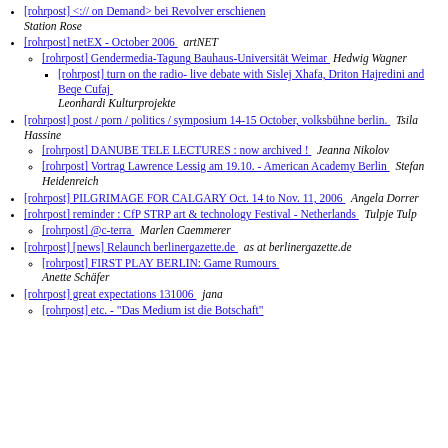[rohrpost] <:// on Demand> bei Revolver erschienen  Station Rose
[rohrpost] netEX - October 2006  artNET
[rohrpost] Gendermedia-Tagung Bauhaus-Universität Weimar  Hedwig Wagner
[rohrpost] turn on the radio- live debate with Sislej Xhafa, Driton Hajredini and Beqe Cufaj  Leonhardi Kulturprojekte
[rohrpost] post / porn / politics / symposium 14-15 October, volksbühne berlin.  Tsila Hassine
[rohrpost] DANUBE TELE LECTURES : now archived !  Jeanna Nikolov
[rohrpost] Vortrag Lawrence Lessig am 19.10. - American Academy Berlin  Stefan Heidenreich
[rohrpost] PILGRIMAGE FOR CALGARY Oct. 14 to Nov. 11, 2006  Angela Dorrer
[rohrpost] reminder : CfP STRP art & technology Festival - Netherlands  Tulpje Tulp
[rohrpost] @c-terra  Marlen Caemmerer
[rohrpost] [news] Relaunch berlinergazette.de  as at berlinergazette.de
[rohrpost] FIRST PLAY BERLIN: Game Rumours  Anette Schäfer
[rohrpost] great expectations 131006  jana
[rohrpost] etc. - "Das Medium ist die Botschaft"